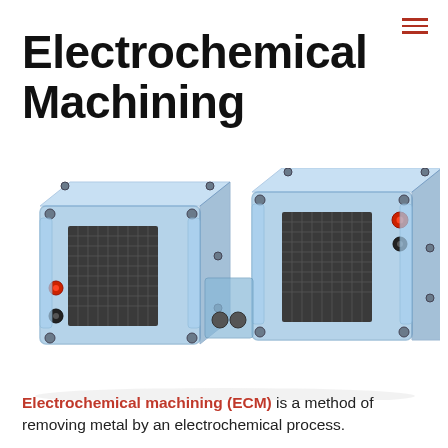Electrochemical Machining
[Figure (illustration): 3D rendering of two electrochemical machining cell units with transparent blue acrylic housings, dark mesh electrodes visible inside, red and black electrical connectors on the sides, and metallic bolts at the corners, shown separated slightly apart on a white background.]
Electrochemical machining (ECM) is a method of removing metal by an electrochemical process.